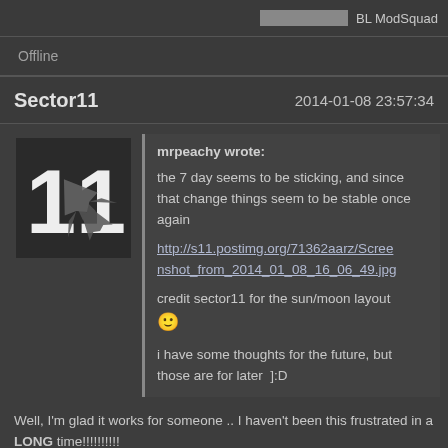BL ModSquad
Offline
Sector11   2014-01-08 23:57:34
[Figure (illustration): Forum avatar showing stylized number 11 with military aircraft]
mrpeachy wrote:
the 7 day seems to be sticking, and since that change things seem to be stable once again

http://s11.postimg.org/71362aarz/Screenshot_from_2014_01_08_16_06_49.jpg

credit sector11 for the sun/moon layout :)

i have some thoughts for the future, but those are for later  ]:D
Well, I'm glad it works for someone .. I haven't been this frustrated in a LONG time!!!!!!!!!!